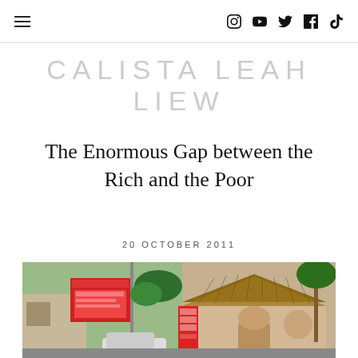Navigation bar with hamburger menu and social icons: Instagram, YouTube, Twitter, Facebook, TikTok
CALISTA LEAH LIEW
The Enormous Gap between the Rich and the Poor
20 OCTOBER 2011
[Figure (photo): Street scene showing a contrast between a local food stall with red signage in Khmer script and a thatched-roof upscale establishment, representing the gap between rich and poor.]